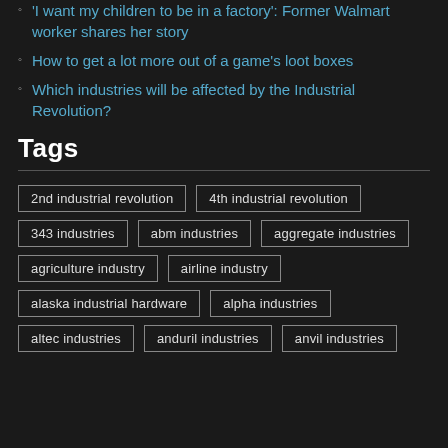'I want my children to be in a factory': Former Walmart worker shares her story
How to get a lot more out of a game's loot boxes
Which industries will be affected by the Industrial Revolution?
Tags
2nd industrial revolution
4th industrial revolution
343 industries
abm industries
aggregate industries
agriculture industry
airline industry
alaska industrial hardware
alpha industries
altec industries
anduril industries
anvil industries